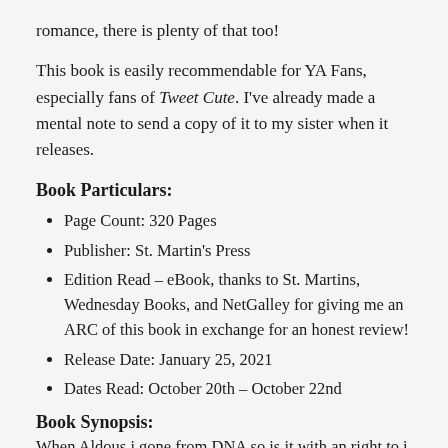romance, there is plenty of that too!
This book is easily recommendable for YA Fans, especially fans of Tweet Cute. I've already made a mental note to send a copy of it to my sister when it releases.
Book Particulars:
Page Count: 320 Pages
Publisher: St. Martin's Press
Edition Read – eBook, thanks to St. Martins, Wednesday Books, and NetGalley for giving me an ARC of this book in exchange for an honest review!
Release Date: January 25, 2021
Dates Read: October 20th – October 22nd
Book Synopsis:
When Aldous is gone from DNA so is it with an right to i...